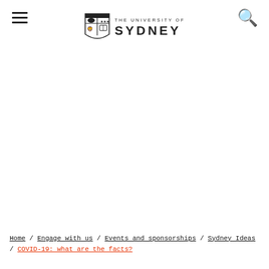The University of Sydney — navigation header with hamburger menu and search icon
Home / Engage with us / Events and sponsorships / Sydney Ideas / COVID-19: what are the facts?